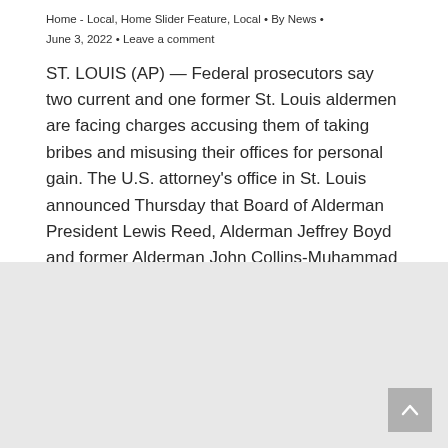Home - Local, Home Slider Feature, Local • By News • June 3, 2022 • Leave a comment
ST. LOUIS (AP) — Federal prosecutors say two current and one former St. Louis aldermen are facing charges accusing them of taking bribes and misusing their offices for personal gain. The U.S. attorney's office in St. Louis announced Thursday that Board of Alderman President Lewis Reed, Alderman Jeffrey Boyd and former Alderman John Collins-Muhammad were…
[Figure (other): Gray advertisement or placeholder block at the bottom of the page with a scroll-to-top arrow button in the bottom-right corner]